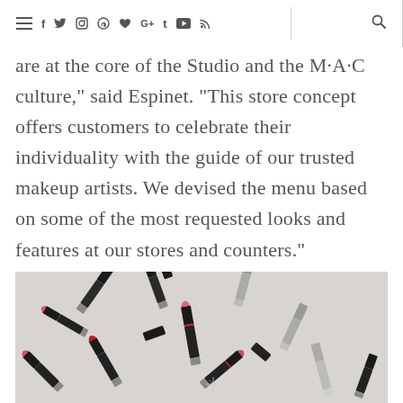≡ f ✓ ◎ ◉ ♥ G+ t ▶ ))) [divider] 🔍
are at the core of the Studio and the M·A·C culture," said Espinet. "This store concept offers customers to celebrate their individuality with the guide of our trusted makeup artists. We devised the menu based on some of the most requested looks and features at our stores and counters."
[Figure (photo): Multiple MAC lipsticks in black and silver casings scattered on a light grey surface, some open showing pink and red bullet tips.]